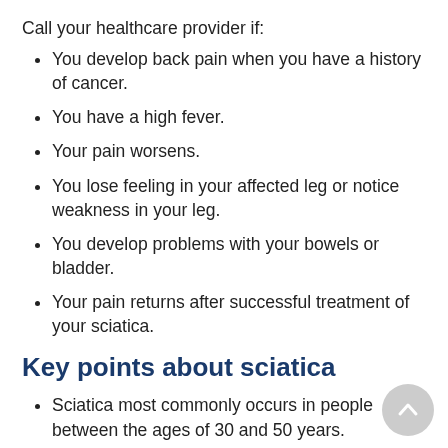Call your healthcare provider if:
You develop back pain when you have a history of cancer.
You have a high fever.
Your pain worsens.
You lose feeling in your affected leg or notice weakness in your leg.
You develop problems with your bowels or bladder.
Your pain returns after successful treatment of your sciatica.
Key points about sciatica
Sciatica most commonly occurs in people between the ages of 30 and 50 years.
It's pain that starts along your sciatic nerve and